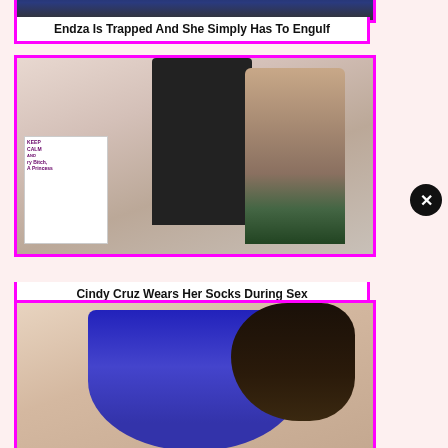[Figure (photo): Partial image of a person in blue outfit, cropped at top]
Endza Is Trapped And She Simply Has To Engulf
[Figure (photo): Man in black shirt with a woman in plaid shirt in a bedroom with Keep Calm poster on purple wall]
Cindy Cruz Wears Her Socks During Sex
[Figure (photo): Woman in blue dress bending forward with long dark hair]